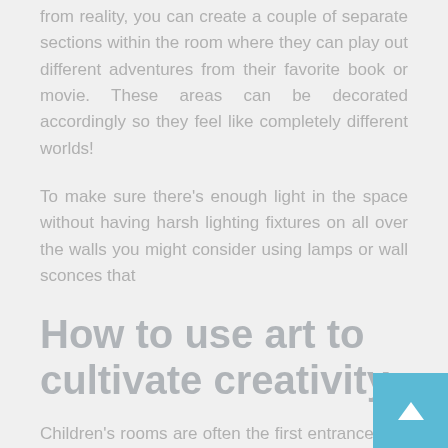from reality, you can create a couple of separate sections within the room where they can play out different adventures from their favorite book or movie. These areas can be decorated accordingly so they feel like completely different worlds!
To make sure there's enough light in the space without having harsh lighting fixtures on all over the walls you might consider using lamps or wall sconces that
How to use art to cultivate creativity
Children's rooms are often the first entrance of a child into a whole new world. They're an opportunity to encourage curiosity and exploration, while also providing safety and